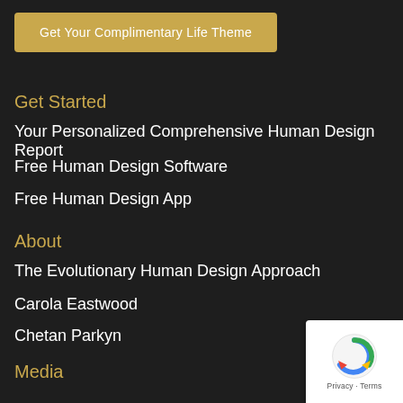[Figure (other): Gold button labeled 'Get Your Complimentary Life Theme']
Get Started
Your Personalized Comprehensive Human Design Report
Free Human Design Software
Free Human Design App
About
The Evolutionary Human Design Approach
Carola Eastwood
Chetan Parkyn
Media
Books
Human Design
[Figure (other): reCAPTCHA badge with Privacy and Terms links]